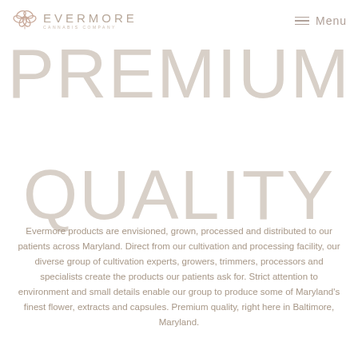[Figure (logo): Evermore Cannabis Company logo with stylized infinity/flower icon and text 'EVERMORE CANNABIS COMPANY']
Menu
PREMIUM QUALITY
Evermore products are envisioned, grown, processed and distributed to our patients across Maryland. Direct from our cultivation and processing facility, our diverse group of cultivation experts, growers, trimmers, processors and specialists create the products our patients ask for. Strict attention to environment and small details enable our group to produce some of Maryland's finest flower, extracts and capsules. Premium quality, right here in Baltimore, Maryland.